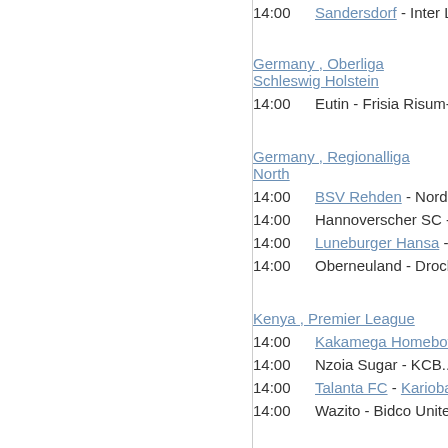14:00  Sandersdorf - Inter Lei...
Germany , Oberliga Schleswig Holstein
14:00  Eutin - Frisia Risum-Lin...
Germany , Regionalliga North
14:00  BSV Rehden - Norders...
14:00  Hannoverscher SC - Hei...
14:00  Luneburger Hansa - Phoni...
14:00  Oberneuland - Drochterse...
Kenya , Premier League
14:00  Kakamega Homeboyz - L...
14:00  Nzoia Sugar - KCB...
14:00  Talanta FC - Kariobangi S...
14:00  Wazito - Bidco Unite...
Lithuania , I Lyga
14:00  FK Panevezys 2 - Siau...
Macao , Elite League